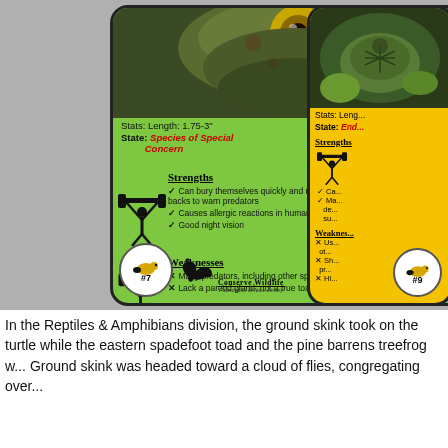[Figure (photo): Two trading/game cards side by side. Left card is green with a frog/toad photo, stats about eastern spadefoot toad, strengths and weaknesses sections, card #7. Right card is yellow (partially visible), card #9. Both cards are from 'Critter Chaos' game by Conserve Wildlife Foundation of New Jersey, Reptiles & Amphibians Division.]
In the Reptiles & Amphibians division, the ground skink took on the turtle while the eastern spadefoot toad and the pine barrens treefrog w... Ground skink was headed toward a cloud of flies, congregating over...